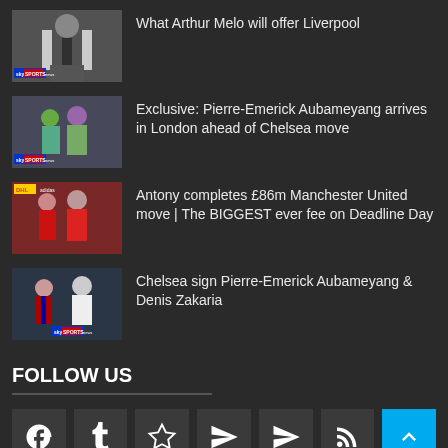What Arthur Melo will offer Liverpool
Exclusive: Pierre-Emerick Aubameyang arrives in London ahead of Chelsea move
Antony completes £86m Manchester United move | The BIGGEST ever fee on Deadline Day
Chelsea sign Pierre-Emerick Aubameyang & Denis Zakaria
FOLLOW US